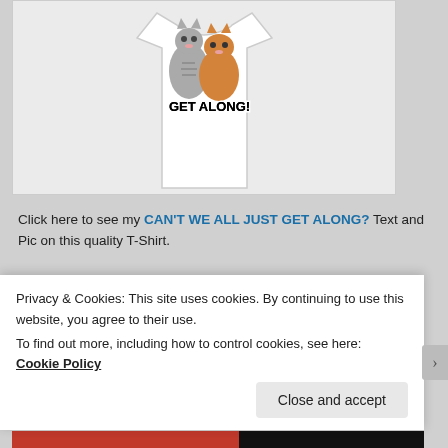[Figure (photo): A white T-shirt with an image of two cats (a grey tabby and an orange tabby) sitting together, with the text 'GET ALONG!' printed below them in a bold stylized font.]
Click here to see my CAN'T WE ALL JUST GET ALONG? Text and Pic on this quality T-Shirt.
I WALK THE ROAD LESS TRAVELED
Privacy & Cookies: This site uses cookies. By continuing to use this website, you agree to their use.
To find out more, including how to control cookies, see here: Cookie Policy
Close and accept